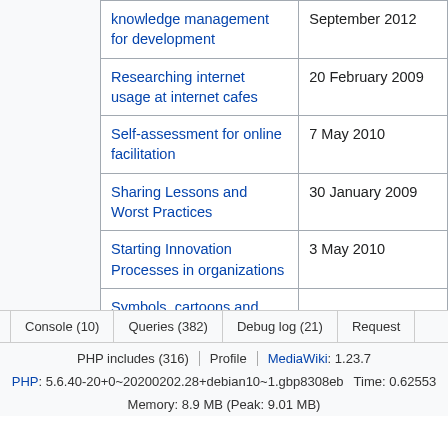| Article | Date |
| --- | --- |
| knowledge management for development | September 2012 |
| Researching internet usage at internet cafes | 20 February 2009 |
| Self-assessment for online facilitation | 7 May 2010 |
| Sharing Lessons and Worst Practices | 30 January 2009 |
| Starting Innovation Processes in organizations | 3 May 2010 |
| Symbols, cartoons and … |  |
Console (10)  Queries (382)  Debug log (21)  Request
PHP includes (316)  Profile  MediaWiki: 1.23.7
PHP: 5.6.40-20+0~20200202.28+debian10~1.gbp8308eb  Time: 0.62553
Memory: 8.9 MB (Peak: 9.01 MB)